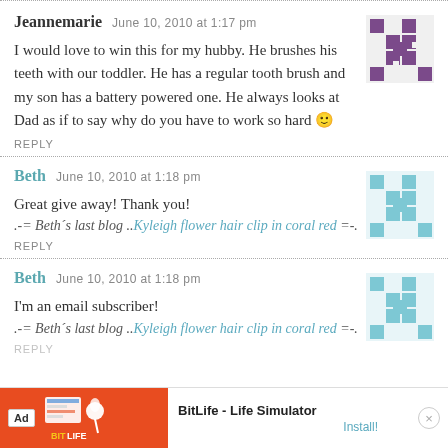Jeannemarie   June 10, 2010 at 1:17 pm
I would love to win this for my hubby. He brushes his teeth with our toddler. He has a regular tooth brush and my son has a battery powered one. He always looks at Dad as if to say why do you have to work so hard 🙂
REPLY
Beth   June 10, 2010 at 1:18 pm
Great give away! Thank you!
.–= Beth´s last blog ..Kyleigh flower hair clip in coral red =-.
REPLY
Beth   June 10, 2010 at 1:18 pm
I'm an email subscriber!
.–= Beth´s last blog ..Kyleigh flower hair clip in coral red =-.
REPLY
[Figure (infographic): Advertisement banner for BitLife - Life Simulator app with orange graphic, Ad badge, and Install button]